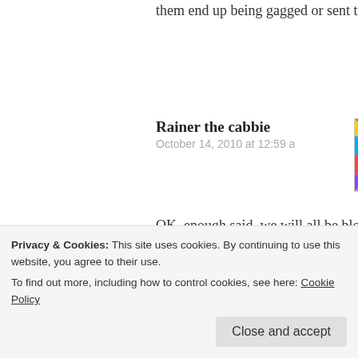them end up being gagged or sent to prison.
Rainer the cabbie
October 14, 2010 at 12:59 a
[Figure (photo): Avatar image with colorful psychedelic rays and a figure]
OK, enough said, we will all be blown up by some bearded creature. In case you want to concentrate on something else, get a load of this :
[Figure (screenshot): Video thumbnail with dark background and text "Dancin' The Boogi..."]
Privacy & Cookies: This site uses cookies. By continuing to use this website, you agree to their use.
To find out more, including how to control cookies, see here: Cookie Policy
Close and accept